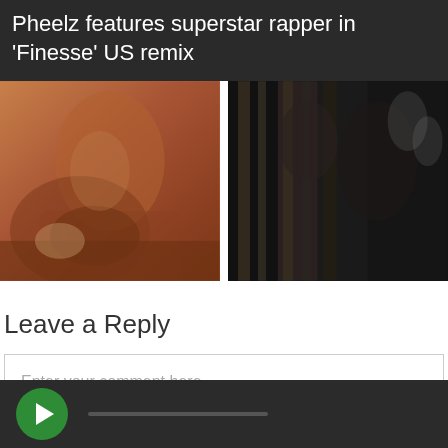Pheelz features superstar rapper in ‘Finesse’ US remix
[Figure (photo): Two side-by-side cropped photos: left shows a person in a brown/rust jacket with hands clasped against a purple background; right shows people in black and white patterned outfits with jewelry]
Leave a Reply
Enter your comment here...